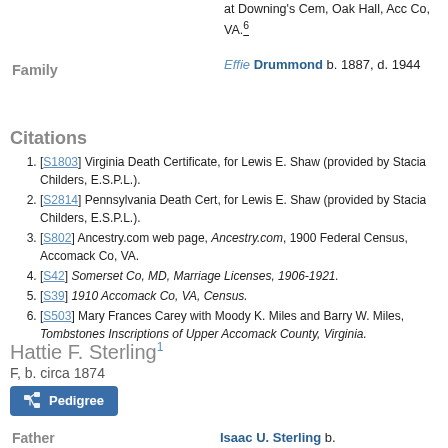at Downing's Cem, Oak Hall, Acc Co, VA.6
Family
Effie Drummond b. 1887, d. 1944
Citations
[S1803] Virginia Death Certificate, for Lewis E. Shaw (provided by Stacia Childers, E.S.P.L.).
[S2814] Pennsylvania Death Cert, for Lewis E. Shaw (provided by Stacia Childers, E.S.P.L.).
[S802] Ancestry.com web page, Ancestry.com, 1900 Federal Census, Accomack Co, VA.
[S42] Somerset Co, MD, Marriage Licenses, 1906-1921.
[S39] 1910 Accomack Co, VA, Census.
[S503] Mary Frances Carey with Moody K. Miles and Barry W. Miles, Tombstones Inscriptions of Upper Accomack County, Virginia.
Hattie F. Sterling1
F, b. circa 1874
Pedigree
Father
Isaac U. Sterling b.